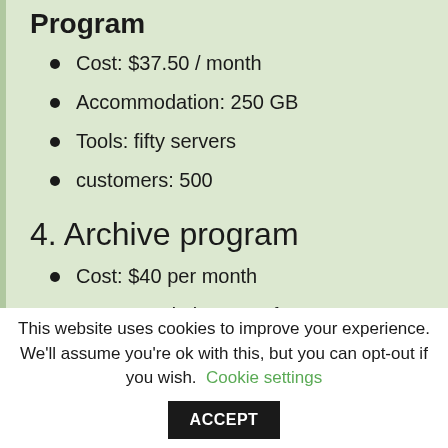Program
Cost: $37.50 / month
Accommodation: 250 GB
Tools: fifty servers
customers: 500
4. Archive program
Cost: $40 per month
Accommodation: 1TB frozen
This website uses cookies to improve your experience. We'll assume you're ok with this, but you can opt-out if you wish.
Cookie settings
ACCEPT